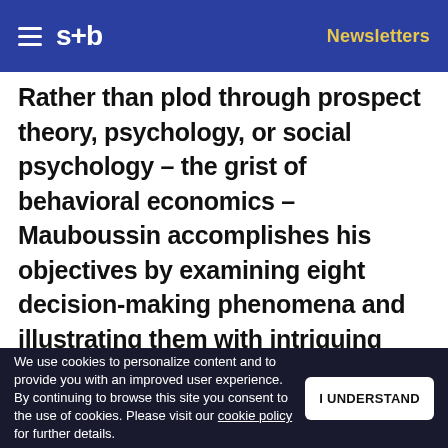s+b | Newsletters
Rather than plod through prospect theory, psychology, or social psychology – the grist of behavioral economics – Mauboussin accomplishes his objectives by examining eight decision-making phenomena and illustrating them with intriguing examples and thought-provoking puzzles. Thus, we discover the dangers of depending on experts, and in what circumstances collective and
We use cookies to personalize content and to provide you with an improved user experience. By continuing to browse this site you consent to the use of cookies. Please visit our cookie policy for further details.